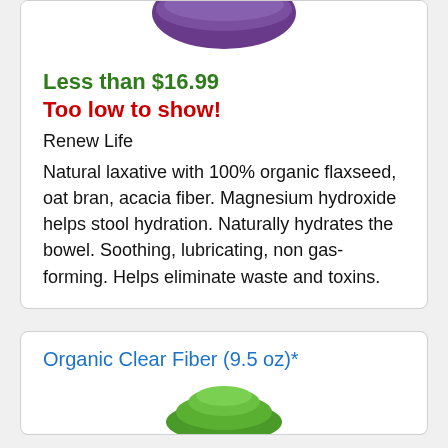[Figure (photo): Bottom portion of a purple product container/bowl cropped at top of card]
Less than $16.99
Too low to show!
Renew Life
Natural laxative with 100% organic flaxseed, oat bran, acacia fiber. Magnesium hydroxide helps stool hydration. Naturally hydrates the bowel. Soothing, lubricating, non gas-forming. Helps eliminate waste and toxins.
Organic Clear Fiber (9.5 oz)*
[Figure (photo): Bottom portion of a green product package cropped at bottom of page]